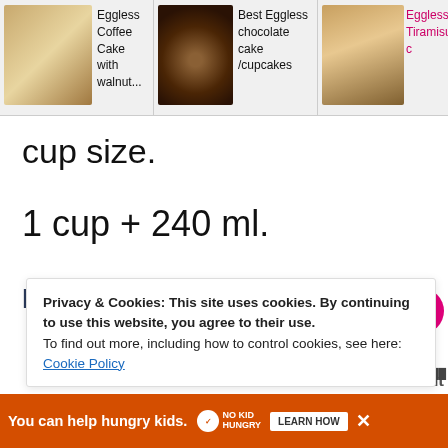[Figure (screenshot): Horizontal strip of recipe images with captions: Eggless Coffee Cake with walnut..., Best Eggless chocolate cake /cupcakes, Eggless Tiramisu (partially visible with search icon overlay)]
cup size.
1 cup + 240 ml.
KEEP IN TOUCH –
Privacy & Cookies: This site uses cookies. By continuing to use this website, you agree to their use. To find out more, including how to control cookies, see here: Cookie Policy
[Figure (screenshot): Ad banner: You can help hungry kids. No Kid Hungry. LEARN HOW button. Close button.]